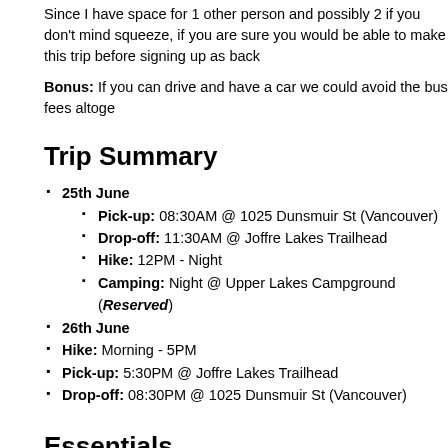Since I have space for 1 other person and possibly 2 if you don't mind squ... if you are sure you would be able to make this trip before signing up as ba...
Bonus: If you can drive and have a car we could avoid the bus fees altoge...
Trip Summary
25th June
Pick-up: 08:30AM @ 1025 Dunsmuir St (Vancouver)
Drop-off: 11:30AM @ Joffre Lakes Trailhead
Hike: 12PM - Night
Camping: Night @ Upper Lakes Campground (Reserved)
26th June
Hike: Morning - 5PM
Pick-up: 5:30PM @ Joffre Lakes Trailhead
Drop-off: 08:30PM @ 1025 Dunsmuir St (Vancouver)
Essentials